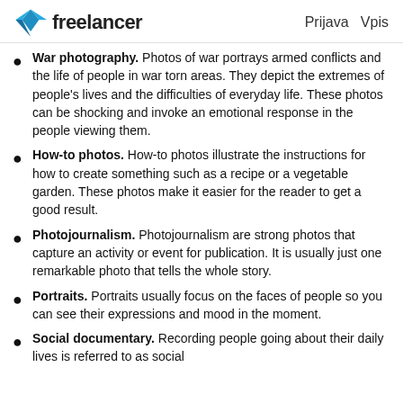freelancer | Prijava Vpis
War photography. Photos of war portrays armed conflicts and the life of people in war torn areas. They depict the extremes of people's lives and the difficulties of everyday life. These photos can be shocking and invoke an emotional response in the people viewing them.
How-to photos. How-to photos illustrate the instructions for how to create something such as a recipe or a vegetable garden. These photos make it easier for the reader to get a good result.
Photojournalism. Photojournalism are strong photos that capture an activity or event for publication. It is usually just one remarkable photo that tells the whole story.
Portraits. Portraits usually focus on the faces of people so you can see their expressions and mood in the moment.
Social documentary. Recording people going about their daily lives is referred to as social...